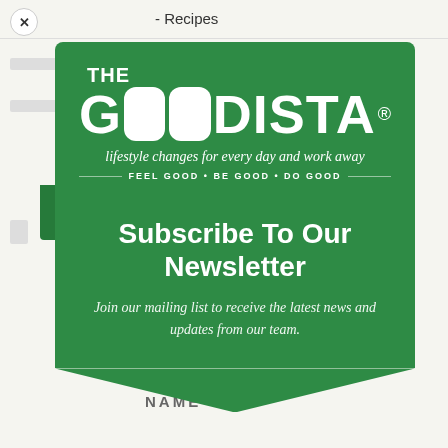- Recipes
[Figure (logo): The Goodista logo: white text 'THE' above large 'GOODISTA' with the two O letters styled as white rounded pill shapes on green background, registered trademark symbol, tagline 'lifestyle changes for every day and work away', subline 'FEEL GOOD • BE GOOD • DO GOOD']
Subscribe To Our Newsletter
Join our mailing list to receive the latest news and updates from our team.
NAME